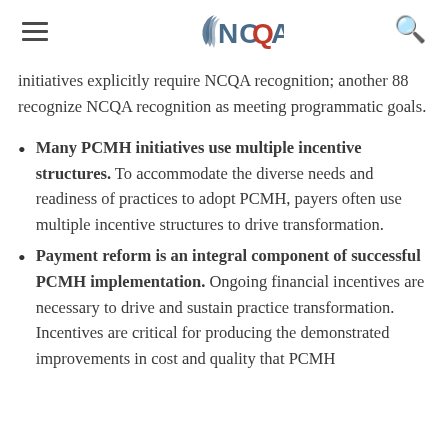NCQA
initiatives explicitly require NCQA recognition; another 88 recognize NCQA recognition as meeting programmatic goals.
Many PCMH initiatives use multiple incentive structures. To accommodate the diverse needs and readiness of practices to adopt PCMH, payers often use multiple incentive structures to drive transformation.
Payment reform is an integral component of successful PCMH implementation. Ongoing financial incentives are necessary to drive and sustain practice transformation. Incentives are critical for producing the demonstrated improvements in cost and quality that PCMH